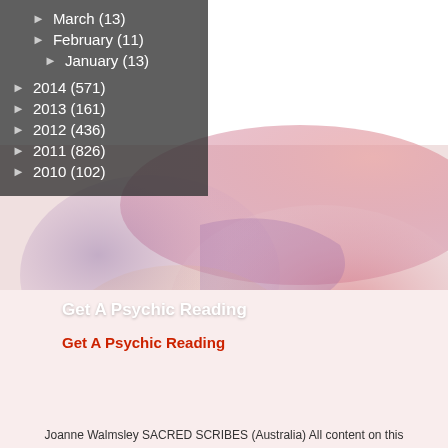[Figure (illustration): Watercolor ink blot painting with pinks, reds, purples, and oranges spreading across the upper portion of the page]
► March (13)
► February (11)
► January (13)
► 2014 (571)
► 2013 (161)
► 2012 (436)
► 2011 (826)
► 2010 (102)
Get A Psychic Reading
Get A Psychic Reading
Joanne Walmsley SACRED SCRIBES (Australia) All content on this